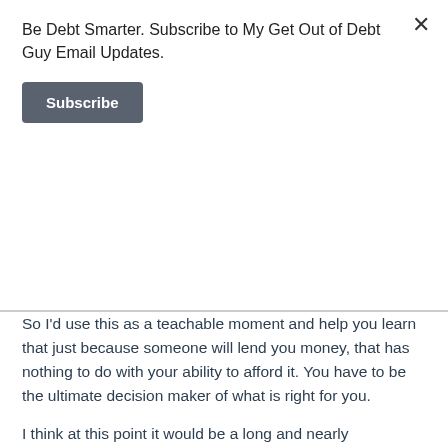Be Debt Smarter. Subscribe to My Get Out of Debt Guy Email Updates.
Subscribe
So I'd use this as a teachable moment and help you learn that just because someone will lend you money, that has nothing to do with your ability to afford it. You have to be the ultimate decision maker of what is right for you.
I think at this point it would be a long and nearly impossible uphill struggle to try and repair the situation. Since you can't file for Chapter 7 bankruptcy protection just yet you should talk to a local bankruptcy attorney about Chapter 13 bankruptcy protection. They will often roll their fees, or some of their fees, into the bankruptcy